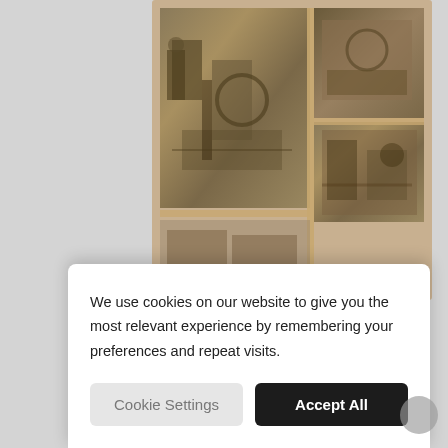[Figure (photo): Sepia-toned vintage photograph showing industrial machinery and workshop equipment, displayed in a collage/frame layout. Black and white historical photograph circa 1946.]
1946
Fredbergs was founded
We use cookies on our website to give you the most relevant experience by remembering your preferences and repeat visits.